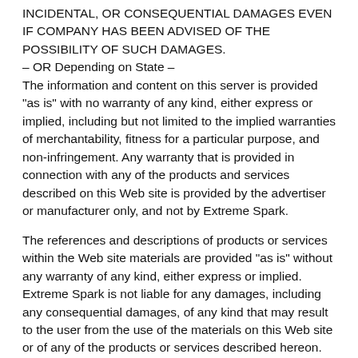INCIDENTAL, OR CONSEQUENTIAL DAMAGES EVEN IF COMPANY HAS BEEN ADVISED OF THE POSSIBILITY OF SUCH DAMAGES.
– OR Depending on State –
The information and content on this server is provided "as is" with no warranty of any kind, either express or implied, including but not limited to the implied warranties of merchantability, fitness for a particular purpose, and non-infringement. Any warranty that is provided in connection with any of the products and services described on this Web site is provided by the advertiser or manufacturer only, and not by Extreme Spark.
The references and descriptions of products or services within the Web site materials are provided "as is" without any warranty of any kind, either express or implied. Extreme Spark is not liable for any damages, including any consequential damages, of any kind that may result to the user from the use of the materials on this Web site or of any of the products or services described hereon.